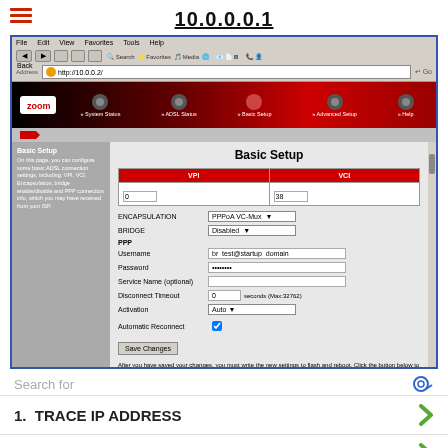10.0.0.0.1
[Figure (screenshot): Screenshot of a Zoom ADSL router web interface showing 'Basic Setup' page with VPI/VCI fields, Encapsulation (PPPoA VC-Mux), Bridge (Disabled), PPP settings including Username (br_test@startup_domain), Password (hidden), Service Name (optional), Disconnect Timeout, Activation, Automatic Reconnect, Save Changes button, and Write Settings to Flash and Reboot button. Displayed in Internet Explorer browser at address http://10.0.0.2/]
Search for
1.  TRACE IP ADDRESS
2.  EMAIL ADDRESS SEARCH